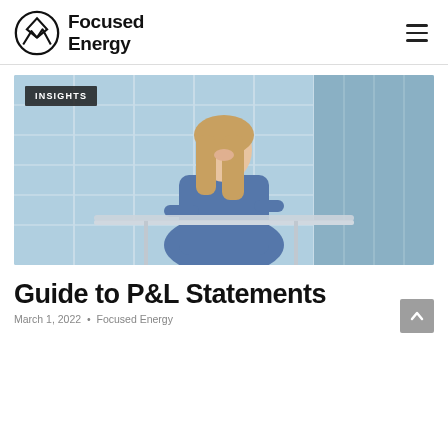Focused Energy
[Figure (photo): A smiling woman with long blonde hair leaning on a glass railing in front of a modern glass building. She is wearing a blue denim shirt and appears to be looking upward and to the side.]
Guide to P&L Statements
March 1, 2022 • Focused Energy